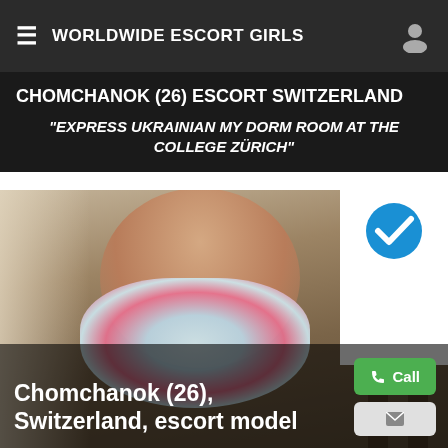WORLDWIDE ESCORT GIRLS
CHOMCHANOK (26) ESCORT SWITZERLAND
"EXPRESS UKRAINIAN MY DORM ROOM AT THE COLLEGE ZÜRICH"
[Figure (photo): Young woman with glasses and curly hair wearing a tie-dye t-shirt, smiling, posed in a room with wooden doors and curtains. A teal checkmark badge is visible in the upper right corner.]
Chomchanok (26), Switzerland, escort model